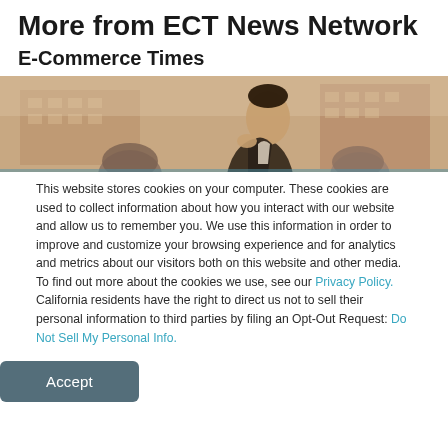More from ECT News Network
E-Commerce Times
[Figure (photo): Sepia-toned photo of a man in a suit standing outdoors with buildings in the background, viewed from below, with heads of other people visible at the bottom.]
This website stores cookies on your computer. These cookies are used to collect information about how you interact with our website and allow us to remember you. We use this information in order to improve and customize your browsing experience and for analytics and metrics about our visitors both on this website and other media. To find out more about the cookies we use, see our Privacy Policy. California residents have the right to direct us not to sell their personal information to third parties by filing an Opt-Out Request: Do Not Sell My Personal Info.
Accept